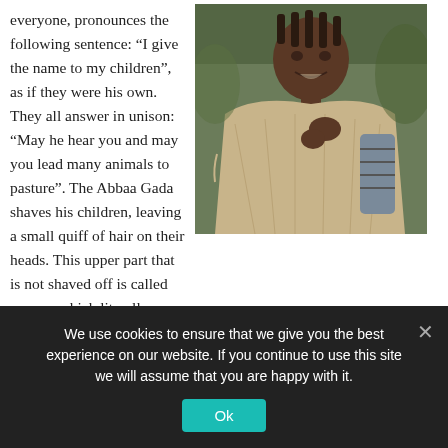everyone, pronounces the following sentence: “I give the name to my children”, as if they were his own. They all answer in unison: “May he hear you and may you lead many animals to pasture”. The Abbaa Gada shaves his children, leaving a small quiff of hair on their heads. This upper part that is not shaved off is called qarree, which literally means ‘summit’. The shaving is followed by a speech by the Abbaa Gada who repeatedly says: “I am
[Figure (photo): A child wrapped in a beige/cream woven shawl or blanket, smiling, with braided hair, outdoors with greenery in background.]
We use cookies to ensure that we give you the best experience on our website. If you continue to use this site we will assume that you are happy with it.